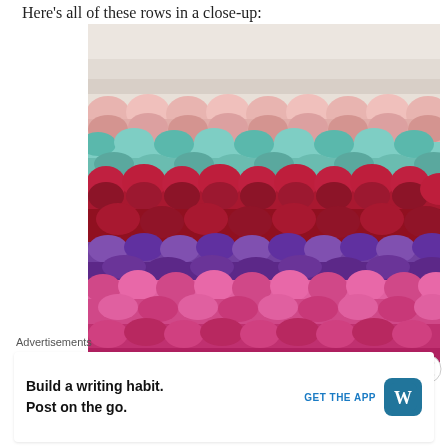Here's all of these rows in a close-up:
[Figure (photo): Close-up photo of colorful crochet rows in pink/white, teal/mint, deep red/crimson, and purple/lavender/pink stripe patterns on a light background.]
Advertisements
Build a writing habit.
Post on the go.
GET THE APP